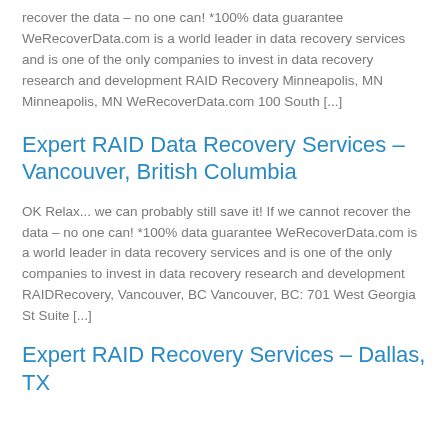recover the data – no one can! *100% data guarantee WeRecoverData.com is a world leader in data recovery services and is one of the only companies to invest in data recovery research and development RAID Recovery Minneapolis, MN   Minneapolis, MN WeRecoverData.com 100 South [...]
Expert RAID Data Recovery Services – Vancouver, British Columbia
OK Relax... we can probably still save it! If we cannot recover the data – no one can! *100% data guarantee WeRecoverData.com is a world leader in data recovery services and is one of the only companies to invest in data recovery research and development RAIDRecovery, Vancouver, BC Vancouver, BC: 701 West Georgia St Suite [...]
Expert RAID Recovery Services – Dallas, TX